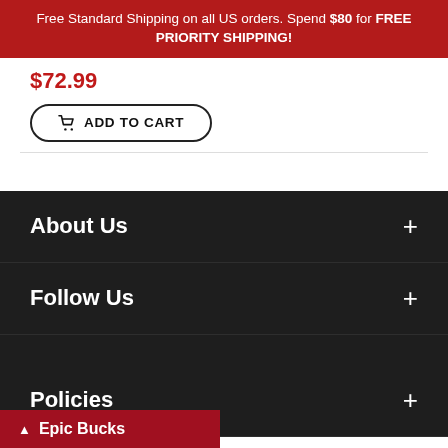Free Standard Shipping on all US orders. Spend $80 for FREE PRIORITY SHIPPING!
$72.99
ADD TO CART
About Us
Follow Us
Policies
Epic Bucks